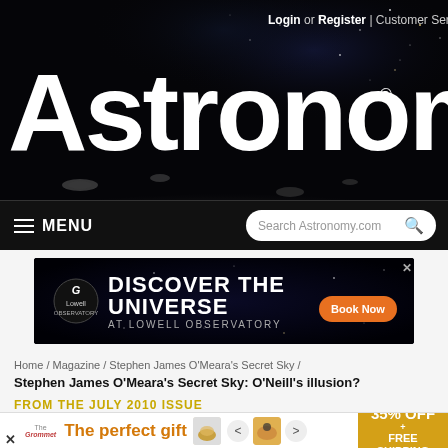[Figure (screenshot): Astronomy.com website header with dark space background showing stars and lunar surface at bottom, large white 'Astronomy' logo text]
Login or Register | Customer Service
Astronomy®
≡ MENU   Search Astronomy.com 🔍
[Figure (infographic): Advertisement banner: Lowell Observatory - DISCOVER THE UNIVERSE AT LOWELL OBSERVATORY with Book Now button on dark starfield background]
Home / Magazine / Stephen James O'Meara's Secret Sky / Stephen James O'Meara's Secret Sky: O'Neill's illusion?
FROM THE JULY 2010 ISSUE
[Figure (infographic): Bottom advertisement banner: The perfect gift with food product image, navigation arrows, and 35% OFF + FREE SHIPPING offer in gold box]